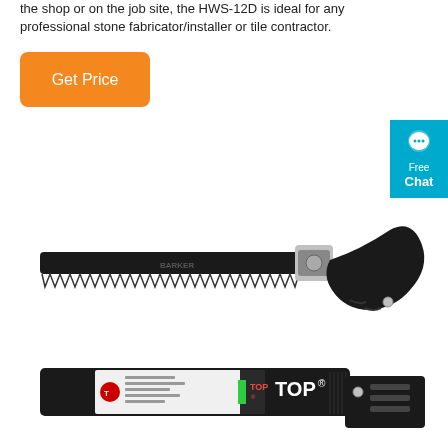the shop or on the job site, the HWS-12D is ideal for any professional stone fabricator/installer or tile contractor.
[Figure (other): Orange 'Get Price' button]
[Figure (other): Cyan 'Free Chat' badge with chat bubble icon on right edge]
[Figure (photo): A folding pruning saw (BARKER brand) shown open/extended with a black serrated blade and curved handle with silver locking mechanism]
[Figure (photo): The same saw shown folded/closed in its black case packaging with TOP brand label and green accent, handle folded alongside the blade sheath]